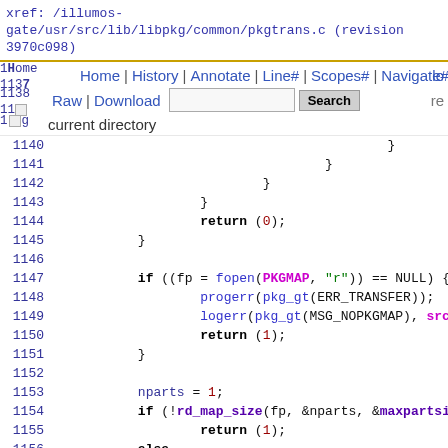xref: /illumos-gate/usr/src/lib/libpkg/common/pkgtrans.c (revision 3970c098)
[Figure (screenshot): Navigation bar with links: Home | History | Annotate | Line# | Scopes# | Navigate# and Raw | Download with search input and button]
Code listing lines 1136-1160 of pkgtrans.c showing C source code with syntax highlighting
1140    }
1141                        }
1142                }
1143            }
1144            return (0);
1145        }
1146
1147        if ((fp = fopen(PKGMAP, "r")) == NULL) {
1148                progerr(pkg_gt(ERR_TRANSFER));
1149                logerr(pkg_gt(MSG_NOPKGMAP), srcin
1150                return (1);
1151        }
1152
1153        nparts = 1;
1154        if (!rd_map_size(fp, &nparts, &maxpartsize
1155                return (1);
1156        else
1157                (void) fclose(fp);
1158
1159        if (srcdev.mount) {
1160                if (ckvolseq(srcdir, 1, nparts))